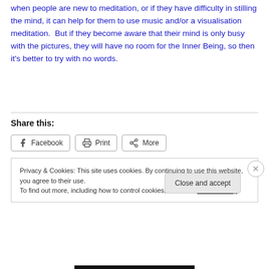when people are new to meditation, or if they have difficulty in stilling the mind, it can help for them to use music and/or a visualisation meditation.  But if they become aware that their mind is only busy with the pictures, they will have no room for the Inner Being, so then it's better to try with no words.
Share this:
Facebook  Print  More
Privacy & Cookies: This site uses cookies. By continuing to use this website, you agree to their use.
To find out more, including how to control cookies, see here: Cookie Policy
Close and accept